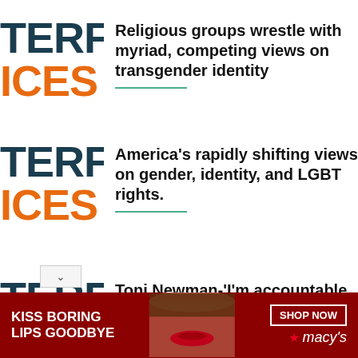[Figure (logo): TERFA ICES logo — TERFA in dark teal/navy, ICES in orange]
Religious groups wrestle with myriad, competing views on transgender identity
[Figure (logo): TERFA ICES logo — TERFA in dark teal/navy, ICES in orange]
America's rapidly shifting views on gender, identity, and LGBT rights.
[Figure (logo): TERFA ICES logo — TERFA in dark teal/navy, ICES in orange]
Toni Newman-'I'm accountable only to God'
[Figure (advertisement): Macy's ad: KISS BORING LIPS GOODBYE with woman photo and SHOP NOW button]